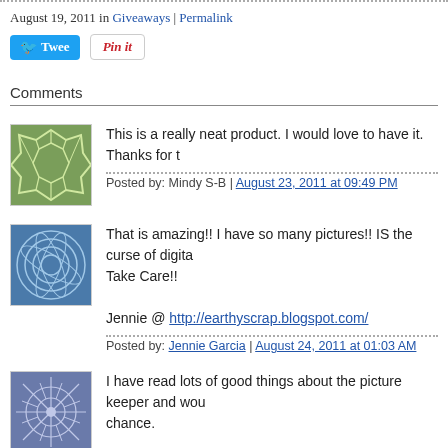August 19, 2011 in Giveaways | Permalink
[Figure (screenshot): Tweet button (Twitter blue) and Pin it button (Pinterest red/white)]
Comments
This is a really neat product. I would love to have it. Thanks for t[he chance]
Posted by: Mindy S-B | August 23, 2011 at 09:49 PM
That is amazing!! I have so many pictures!! IS the curse of digita[l photography!]
Take Care!!
Jennie @ http://earthyscrap.blogspot.com/
Posted by: Jennie Garcia | August 24, 2011 at 01:03 AM
I have read lots of good things about the picture keeper and wou[ld love a] chance.